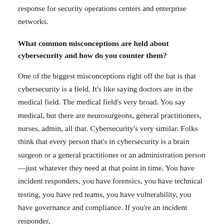response for security operations centers and enterprise networks.
What common misconceptions are held about cybersecurity and how do you counter them?
One of the biggest misconceptions right off the bat is that cybersecurity is a field. It's like saying doctors are in the medical field. The medical field's very broad. You say medical, but there are neurosurgeons, general practitioners, nurses, admin, all that. Cybersecurity's very similar. Folks think that every person that's in cybersecurity is a brain surgeon or a general practitioner or an administration person—just whatever they need at that point in time. You have incident responders, you have forensics, you have technical testing, you have red teams, you have vulnerability, you have governance and compliance. If you're an incident responder,